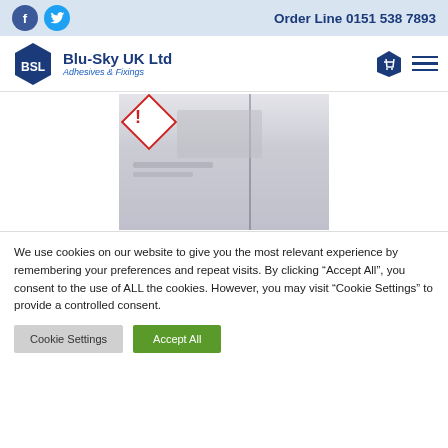Order Line 0151 538 7893
[Figure (logo): BSL Blu-Sky UK Ltd Adhesives & Fixings logo with blue hexagon]
[Figure (photo): Close-up photo of a metallic aerosol/chemical canister with GHS hazard diamond symbol and blurred label text]
We use cookies on our website to give you the most relevant experience by remembering your preferences and repeat visits. By clicking “Accept All”, you consent to the use of ALL the cookies. However, you may visit “Cookie Settings” to provide a controlled consent.
Cookie Settings | Accept All